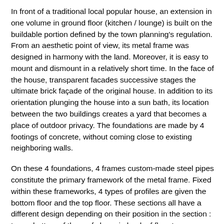In front of a traditional local popular house, an extension in one volume in ground floor (kitchen / lounge) is built on the buildable portion defined by the town planning's regulation. From an aesthetic point of view, its metal frame was designed in harmony with the land. Moreover, it is easy to mount and dismount in a relatively short time. In the face of the house, transparent facades successive stages the ultimate brick façade of the original house. In addition to its orientation plunging the house into a sun bath, its location between the two buildings creates a yard that becomes a place of outdoor privacy. The foundations are made by 4 footings of concrete, without coming close to existing neighboring walls.
On these 4 foundations, 4 frames custom-made steel pipes constitute the primary framework of the metal frame. Fixed within these frameworks, 4 types of profiles are given the bottom floor and the top floor. These sections all have a different design depending on their position in the section : top or bottom of the roof slope, in bank of floor top or bottom floor. The profile makes bank high floor down roof slope receives a folded sheet steel